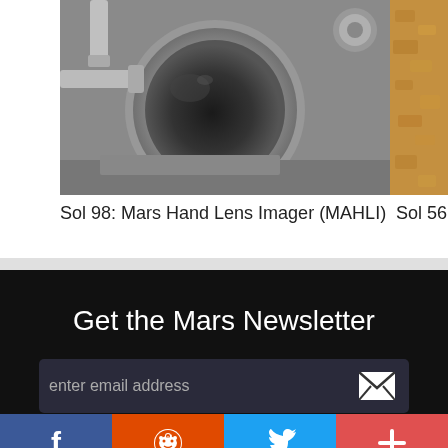[Figure (photo): Close-up photo of Mars Hand Lens Imager (MAHLI) instrument, showing metallic lens housing and circular lens element, grey tones]
[Figure (photo): Partial view of Mars surface, sandy/rocky terrain, orange-brown tones, cropped on right edge]
Sol 98: Mars Hand Lens Imager (MAHLI)
Sol 56
Get the Mars Newsletter
enter email address
Facebook | Reddit | Twitter | +